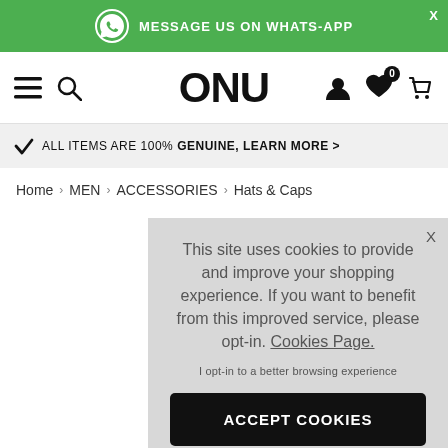MESSAGE US ON WHATS-APP
[Figure (logo): ONU brand logo with hamburger menu, search icon, user icon, wishlist icon with badge 0, and cart icon]
ALL ITEMS ARE 100% GENUINE, LEARN MORE >
Home > MEN > ACCESSORIES > Hats & Caps
This site uses cookies to provide and improve your shopping experience. If you want to benefit from this improved service, please opt-in. Cookies Page.
I opt-in to a better browsing experience
ACCEPT COOKIES